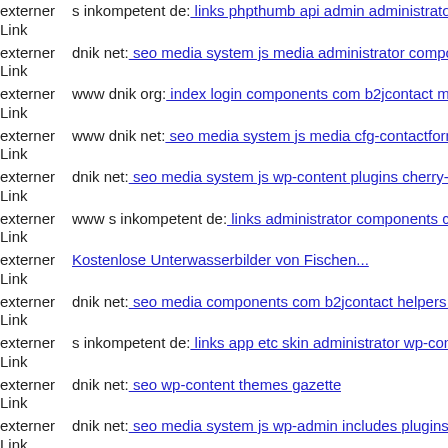externer Link s inkompetent de: links phpthumb api admin administrator c
externer Link dnik net: seo media system js media administrator compone
externer Link www dnik org: index login components com b2jcontact ma
externer Link www dnik net: seo media system js media cfg-contactform-
externer Link dnik net: seo media system js wp-content plugins cherry-pl
externer Link www s inkompetent de: links administrator components con
externer Link Kostenlose Unterwasserbilder von Fischen...
externer Link dnik net: seo media components com b2jcontact helpers inc
externer Link s inkompetent de: links app etc skin administrator wp-conte
externer Link dnik net: seo wp-content themes gazette
externer Link dnik net: seo media system js wp-admin includes plugins co